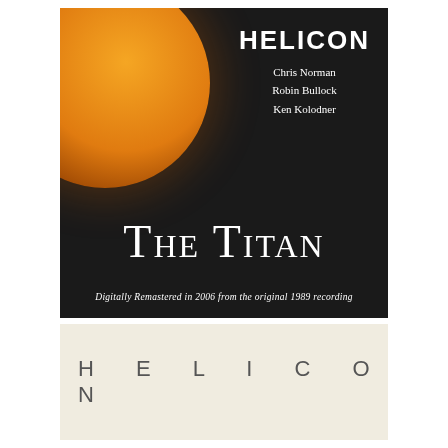[Figure (photo): Album cover for 'The Titan' by Helicon (Chris Norman, Robin Bullock, Ken Kolodner). Dark background with large orange planet in upper left. White text reads 'HELICON', artist names, and 'The Titan' in large small-caps. Bottom text: 'Digitally Remastered in 2006 from the original 1989 recording'.]
[Figure (photo): Cream/off-white strip showing 'H E L I C O N' in widely spaced thin capital letters on a light background.]